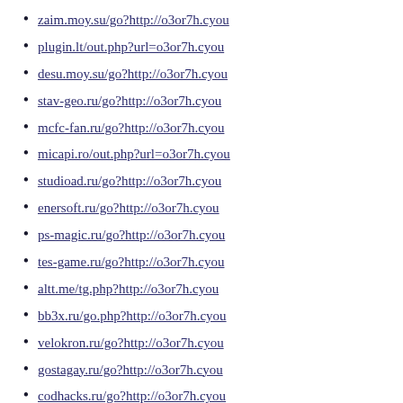zaim.moy.su/go?http://o3or7h.cyou
plugin.lt/out.php?url=o3or7h.cyou
desu.moy.su/go?http://o3or7h.cyou
stav-geo.ru/go?http://o3or7h.cyou
mcfc-fan.ru/go?http://o3or7h.cyou
micapi.ro/out.php?url=o3or7h.cyou
studioad.ru/go?http://o3or7h.cyou
enersoft.ru/go?http://o3or7h.cyou
ps-magic.ru/go?http://o3or7h.cyou
tes-game.ru/go?http://o3or7h.cyou
altt.me/tg.php?http://o3or7h.cyou
bb3x.ru/go.php?http://o3or7h.cyou
velokron.ru/go?http://o3or7h.cyou
gostagay.ru/go?http://o3or7h.cyou
codhacks.ru/go?http://o3or7h.cyou
cs-lords.ru/go?http://o3or7h.cyou
prlog.ru/analysis/www.o3or7h.cyou
kuklaskorner.com/?URL=o3or7h.cyou
pachl.de/url?q=http://o3or7h.cyou